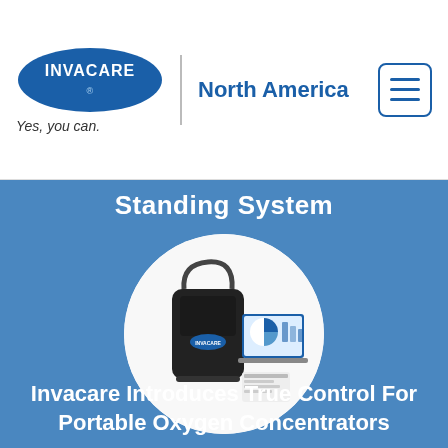[Figure (logo): Invacare logo — blue oval with white INVACARE text, Yes, you can. tagline, North America label, and hamburger menu icon]
Standing System
[Figure (photo): Circular cropped photo of a portable oxygen concentrator device (black bag/case) alongside a laptop and a small card, displayed on white background]
Invacare Introduces True Control For Portable Oxygen Concentrators